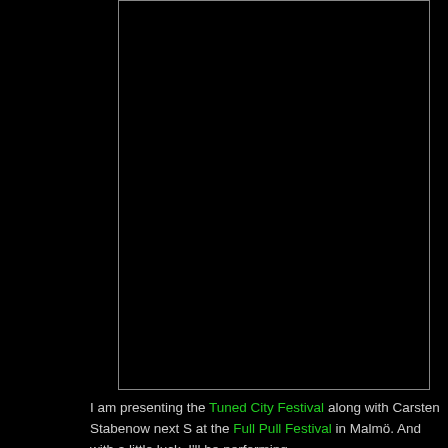[Figure (photo): A large mostly black photographic image with a thin light-colored border, positioned in the upper right portion of the page against a black background.]
I am presenting the Tuned City Festival along with Carsten Stabenow next S at the Full Pull Festival in Malmö. And with a little luck, I'll be performing